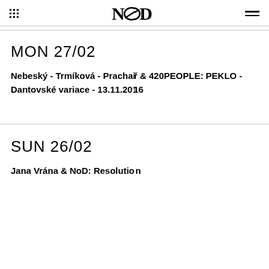NoD
MON 27/02
Nebeský - Trmíková - Prachař & 420PEOPLE: PEKLO - Dantovské variace - 13.11.2016
SUN 26/02
Jana Vrána & NoD: Resolution